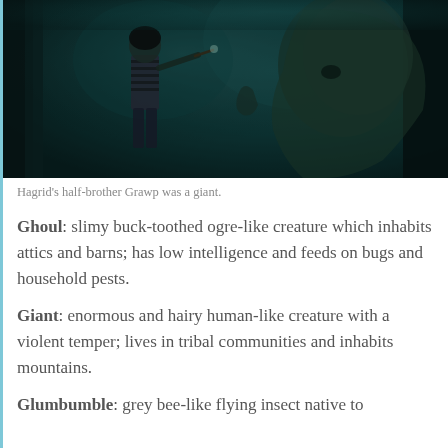[Figure (photo): Movie scene showing a small person (Hermione) pointing a wand at a large giant (Grawp) in a dark forest setting with teal/blue-green tones]
Hagrid's half-brother Grawp was a giant.
Ghoul: slimy buck-toothed ogre-like creature which inhabits attics and barns; has low intelligence and feeds on bugs and household pests.
Giant: enormous and hairy human-like creature with a violent temper; lives in tribal communities and inhabits mountains.
Glumbumble: grey bee-like flying insect native to